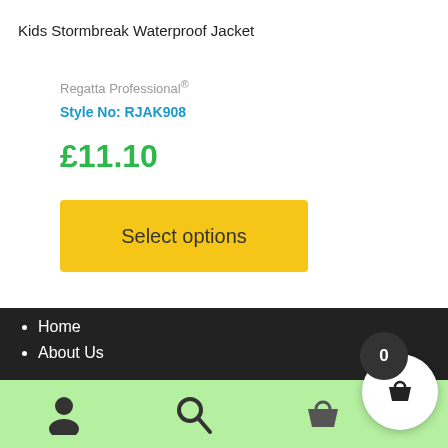Kids Stormbreak Waterproof Jacket
Regatta Professional®
Style No: RJAK908
£11.10
Select options
Home
About Us
0 (cart badge)